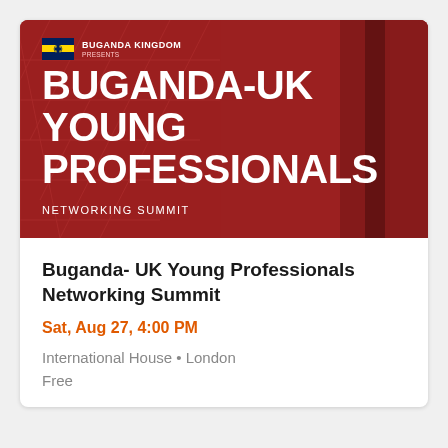[Figure (illustration): Event banner with dark red background, architectural lines pattern, Buganda Kingdom flag logo with text 'BUGANDA KINGDOM PRESENTS', large white bold text reading 'BUGANDA-UK YOUNG PROFESSIONALS', and subtitle 'NETWORKING SUMMIT']
Buganda- UK Young Professionals Networking Summit
Sat, Aug 27, 4:00 PM
International House • London
Free